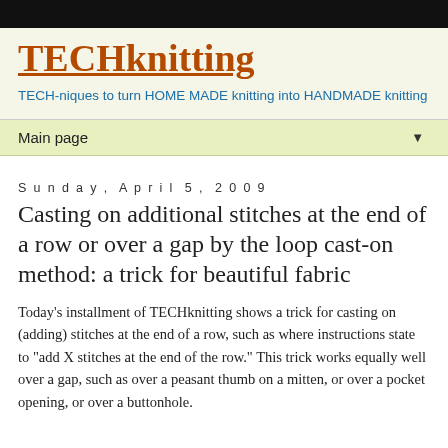TECHknitting
TECH-niques to turn HOME MADE knitting into HANDMADE knitting
Main page
Sunday, April 5, 2009
Casting on additional stitches at the end of a row or over a gap by the loop cast-on method: a trick for beautiful fabric
Today's installment of TECHknitting shows a trick for casting on (adding) stitches at the end of a row, such as where instructions state to "add X stitches at the end of the row." This trick works equally well over a gap, such as over a peasant thumb on a mitten, or over a pocket opening, or over a buttonhole.